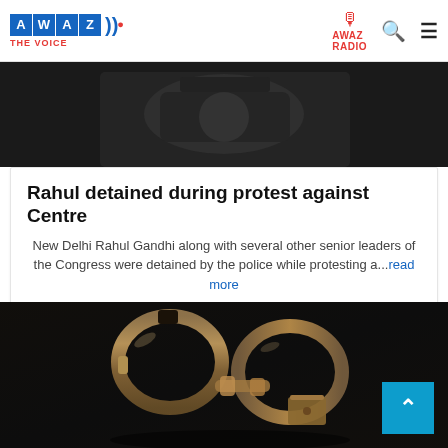AWAZ THE VOICE | AWAZ RADIO
[Figure (photo): Dark background photo showing a person in a dark shirt, partially visible upper body]
Rahul detained during protest against Centre
New Delhi Rahul Gandhi along with several other senior leaders of the Congress were detained by the police while protesting a...read more
05-08-2022 14:25:30
[Figure (photo): Dark photo of metal handcuffs on a dark wooden surface]